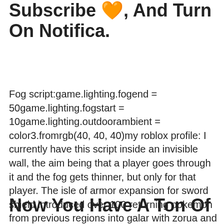Subscribe 🧡, And Turn On Notifica.
Fog script:game.lighting.fogend = 50game.lighting.fogstart = 10game.lighting.outdoorambient = color3.fromrgb(40, 40, 40)my roblox profile: I currently have this script inside an invisible wall, the aim being that a player goes through it and the fog gets thinner, but only for that player. The isle of armor expansion for sword shield introduced over 100 returning pokemon from previous regions into galar with zorua and zoroark being just a few of the inclusions.
Now You Have A Ton Of